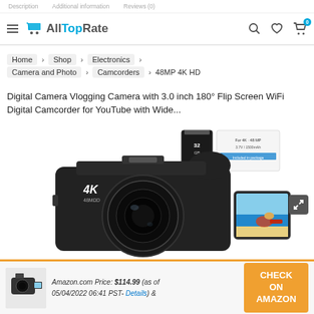Description  Additional information  Reviews (0)
AllTopRate — navigation bar with hamburger menu, search, wishlist, cart (0)
Home > Shop > Electronics > Camera and Photo > Camcorders > 48MP 4K HD Digital Camera Vlogging Camera with 3.0 inch 180° Flip Screen WiFi Digital Camcorder for YouTube with Wide...
[Figure (photo): Product photo of a 4K 48MP digital vlogging camera with a 3-inch flip screen showing a beach scene, along with a 32GB memory card and battery accessories]
Amazon.com Price: $114.99 (as of 05/04/2022 06:41 PST- Details) &
CHECK ON AMAZON